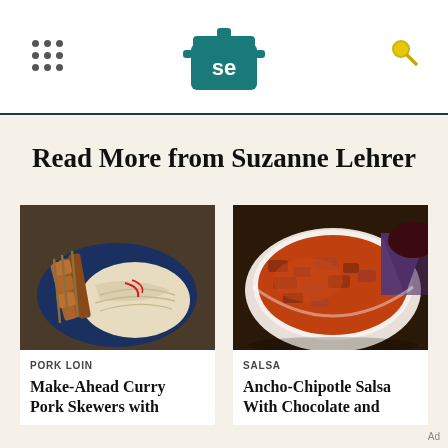[Figure (logo): Serious Eats 'SE' logo with pot icon, teal/dark green color]
Read More from Suzanne Lehrer
[Figure (photo): Photo of pork skewers with noodles on a blue plate]
PORK LOIN
Make-Ahead Curry Pork Skewers with
[Figure (photo): Photo of ancho-chipotle salsa in a white bowl with blue corn chip]
SALSA
Ancho-Chipotle Salsa With Chocolate and
Ad